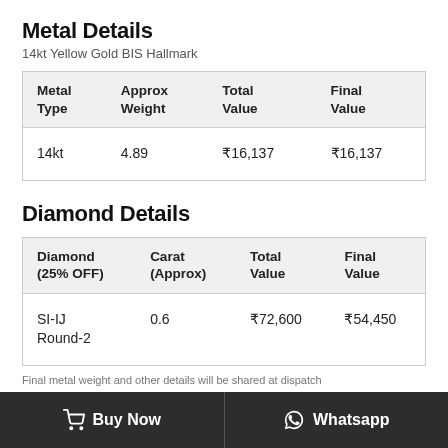Metal Details
14kt Yellow Gold BIS Hallmark
| Metal Type | Approx Weight | Total Value | Final Value |
| --- | --- | --- | --- |
| 14kt | 4.89 | ₹16,137 | ₹16,137 |
Diamond Details
| Diamond (25% OFF) | Carat (Approx) | Total Value | Final Value |
| --- | --- | --- | --- |
| SI-IJ Round-2 | 0.6 | ₹72,600 | ₹54,450 |
Final metal weight and other details will be shared at dispatch
Buy Now   Whatsapp